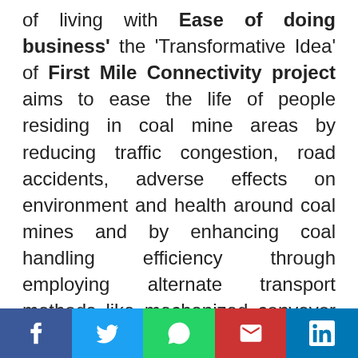of living with Ease of doing business' the 'Transformative Idea' of First Mile Connectivity project aims to ease the life of people residing in coal mine areas by reducing traffic congestion, road accidents, adverse effects on environment and health around coal mines and by enhancing coal handling efficiency through employing alternate transport methods like mechanized conveyor system and computerized loading into railway rakes. Coal companies have formulated a strategy to develop an integrated approach for eliminating
Social share bar: Facebook, Twitter, WhatsApp, Email, LinkedIn